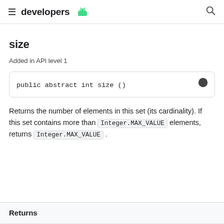developers
size
Added in API level 1
Returns the number of elements in this set (its cardinality). If this set contains more than Integer.MAX_VALUE elements, returns Integer.MAX_VALUE .
Returns